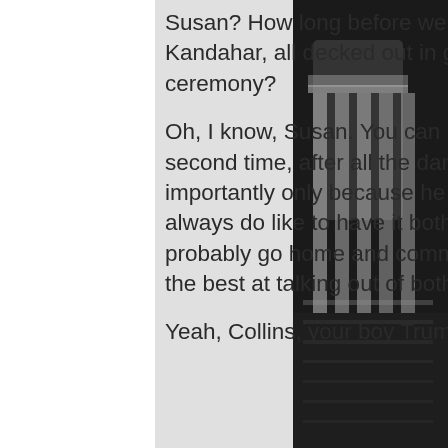Susan? How long before we see a Trump Hotel in Kabul and one in Kandahar, all decked out in gold inside? Will you be at the ribbon cutting ceremony?
Oh, I know, Susan. You can point to having voted against Trump the second time, after all the damage was done or set in motion, most importantly only because he lost and was being shown the door. You always do like to have it both ways, don't you, Susan Collins? You probably go home and commend yourself every damn night for being the best at talking out of both sides of your ass.
Yeah, Collins, your boy Trump sure did
[Figure (photo): Black and white photograph of the US Capitol building dome/rotunda columns, visible on the right side of the page against a dark background]